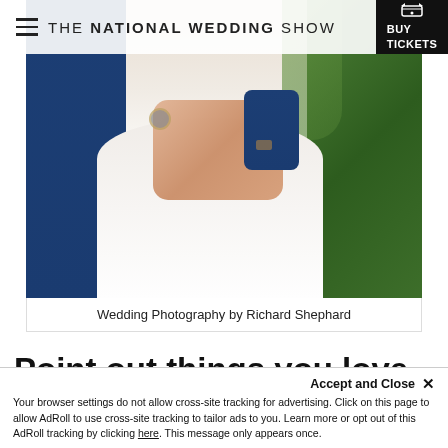THE NATIONAL WEDDING SHOW | BUY TICKETS
[Figure (photo): Wedding couple photo — bride in white dress and groom in navy suit holding hands, with green foliage in background. Caption: Wedding Photography by Richard Shephard]
Wedding Photography by Richard Shephard
Point out things you love, but don't over-script the photos
Accept and Close ×
Your browser settings do not allow cross-site tracking for advertising. Click on this page to allow AdRoll to use cross-site tracking to tailor ads to you. Learn more or opt out of this AdRoll tracking by clicking here. This message only appears once.